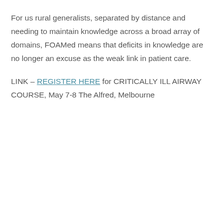For us rural generalists, separated by distance and needing to maintain knowledge across a broad array of domains, FOAMed means that deficits in knowledge are no longer an excuse as the weak link in patient care.
LINK – REGISTER HERE for CRITICALLY ILL AIRWAY COURSE, May 7-8 The Alfred, Melbourne